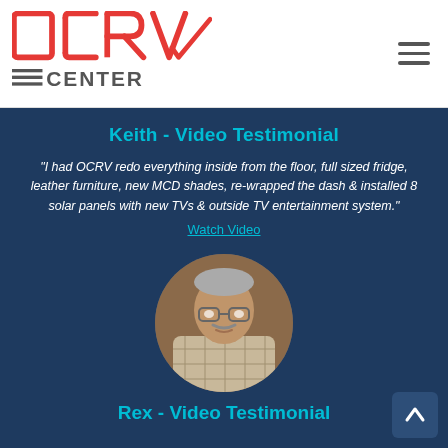OCRV Center logo and navigation menu
Keith - Video Testimonial
“I had OCRV redo everything inside from the floor, full sized fridge, leather furniture, new MCD shades, re-wrapped the dash & installed 8 solar panels with new TVs & outside TV entertainment system.”
Watch Video
[Figure (photo): Circular cropped photo of Keith, a middle-aged man with gray hair and glasses wearing a plaid shirt]
Rex - Video Testimonial